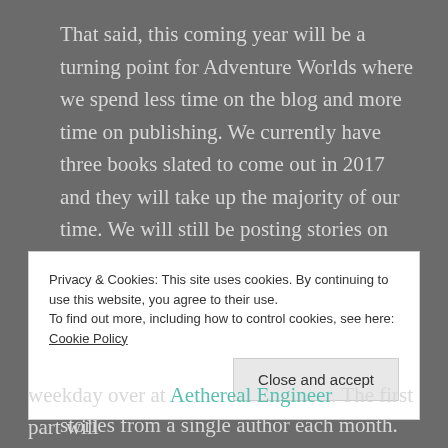That said, this coming year will be a turning point for Adventure Worlds where we spend less time on the blog and more time on publishing. We currently have three books slated to come out in 2017 and they will take up the majority of our time. We will still be posting stories on this site, but rather than post a random story every other week, we will be featuring an author each month. That means we may have a one post story, a multiple post story, or even a couple of stories from a single author each month.
Privacy & Cookies: This site uses cookies. By continuing to use this website, you agree to their use. To find out more, including how to control cookies, see here: Cookie Policy
Close and accept
weekday over at Aethereal Engineer. The first part will